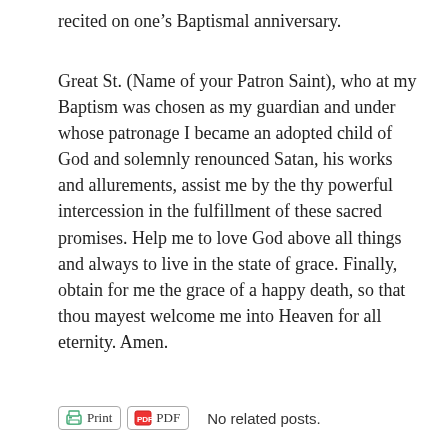recited on one’s Baptismal anniversary.
Great St. (Name of your Patron Saint), who at my Baptism was chosen as my guardian and under whose patronage I became an adopted child of God and solemnly renounced Satan, his works and allurements, assist me by the thy powerful intercession in the fulfillment of these sacred promises. Help me to love God above all things and always to live in the state of grace. Finally, obtain for me the grace of a happy death, so that thou mayest welcome me into Heaven for all eternity. Amen.
Print  PDF  No related posts.